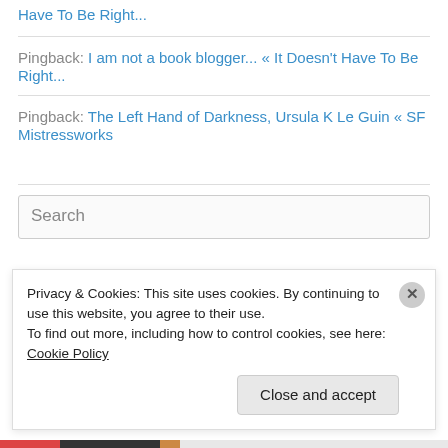Have To Be Right...
Pingback: I am not a book blogger... « It Doesn't Have To Be Right...
Pingback: The Left Hand of Darkness, Ursula K Le Guin « SF Mistressworks
Search
Privacy & Cookies: This site uses cookies. By continuing to use this website, you agree to their use.
To find out more, including how to control cookies, see here: Cookie Policy
Close and accept